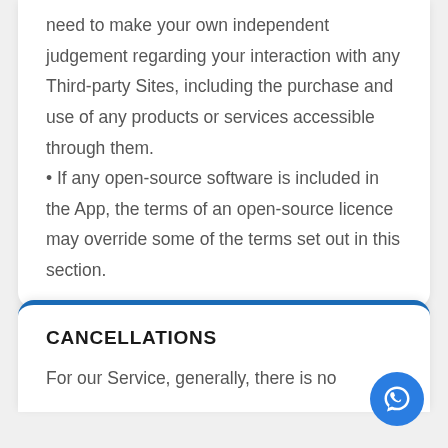need to make your own independent judgement regarding your interaction with any Third-party Sites, including the purchase and use of any products or services accessible through them.
• If any open-source software is included in the App, the terms of an open-source licence may override some of the terms set out in this section.
CANCELLATIONS
For our Service, generally, there is no